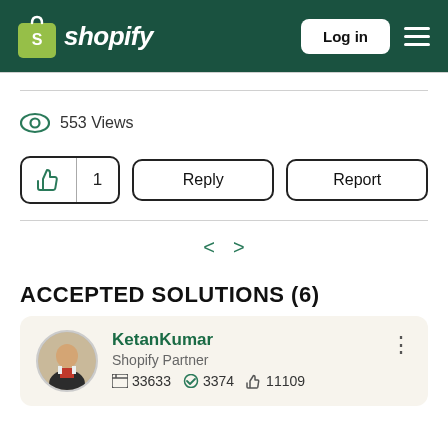Shopify — Log in
553 Views
[Figure (screenshot): Like button with count 1, Reply button, Report button]
[Figure (screenshot): Pagination arrows left and right]
ACCEPTED SOLUTIONS (6)
KetanKumar — Shopify Partner — 33633 posts, 3374 solutions accepted, 11109 likes